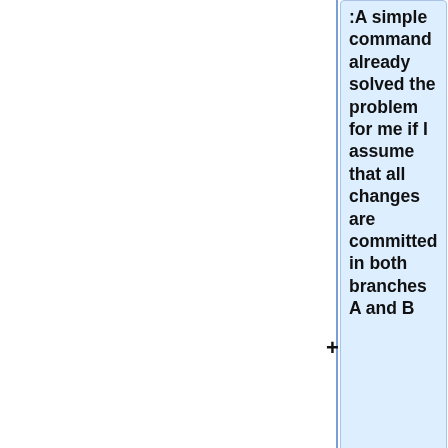:A simple command already solved the problem for me if I assume that all changes are committed in both branches A and B
:"git checkout A"
:"git checkout -- patch B f"